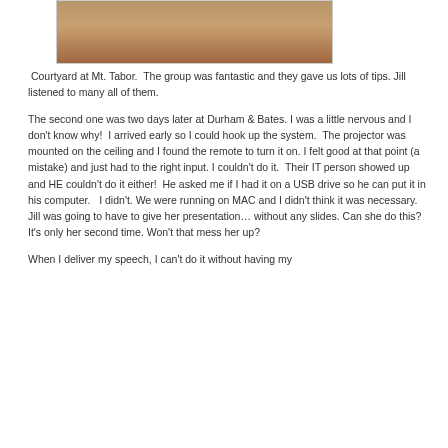[Figure (photo): Photo showing lower portion of a person standing on a patterned carpet/rug, wearing white/light pants and dark sandals, with a red/brown curtain or drape visible]
Courtyard at Mt. Tabor.  The group was fantastic and they gave us lots of tips. Jill listened to many all of them.
The second one was two days later at Durham & Bates. I was a little nervous and I don't know why!  I arrived early so I could hook up the system.  The projector was mounted on the ceiling and I found the remote to turn it on. I felt good at that point (a mistake) and just had to the right input. I couldn't do it.  Their IT person showed up and HE couldn't do it either!  He asked me if I had it on a USB drive so he can put it in his computer.   I didn't. We were running on MAC and I didn't think it was necessary.  Jill was going to have to give her presentation… without any slides. Can she do this?   It's only her second time. Won't that mess her up?
When I deliver my speech, I can't do it without having my